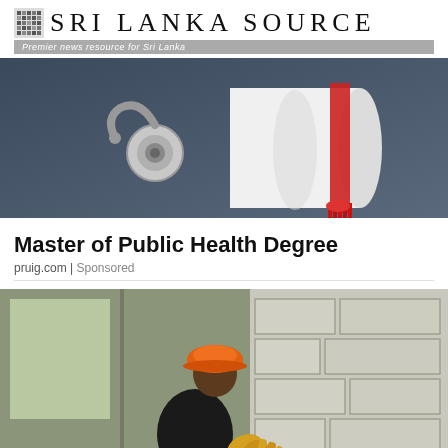Sri Lanka Source — Premier news resource for Sri Lanka
[Figure (photo): A white rolled diploma tied with a red ribbon/tassel alongside a stethoscope on a dark surface]
Master of Public Health Degree
pruig.com | Sponsored
[Figure (photo): A construction worker wearing an orange hard hat and yellow gloves pressing mortar into concrete block wall]